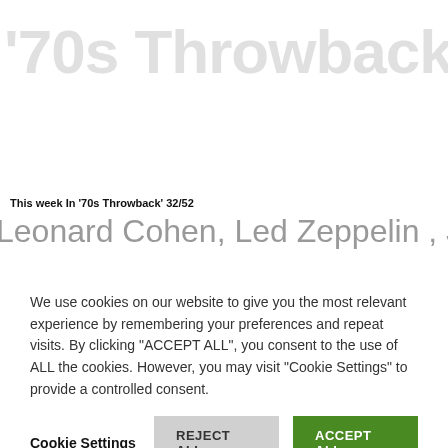[Figure (other): Faded large grey background text showing playlist/throwback title]
This week In '70s Throwback' 32/52
Leonard Cohen, Led Zeppelin , Joe Jackson, Grateful Dead,
We use cookies on our website to give you the most relevant experience by remembering your preferences and repeat visits. By clicking "ACCEPT ALL", you consent to the use of ALL the cookies. However, you may visit "Cookie Settings" to provide a controlled consent.
Cookie Settings   REJECT ALL   ACCEPT ALL